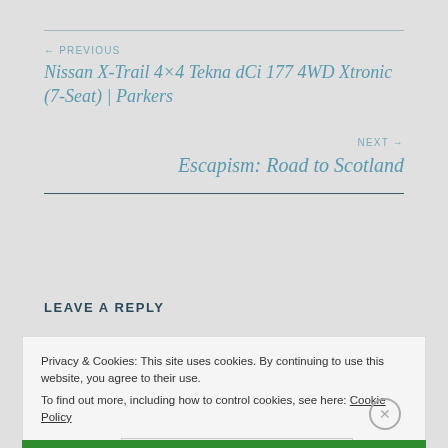← PREVIOUS
Nissan X-Trail 4×4 Tekna dCi 177 4WD Xtronic (7-Seat) | Parkers
NEXT →
Escapism: Road to Scotland
LEAVE A REPLY
Privacy & Cookies: This site uses cookies. By continuing to use this website, you agree to their use.
To find out more, including how to control cookies, see here: Cookie Policy
Close and accept